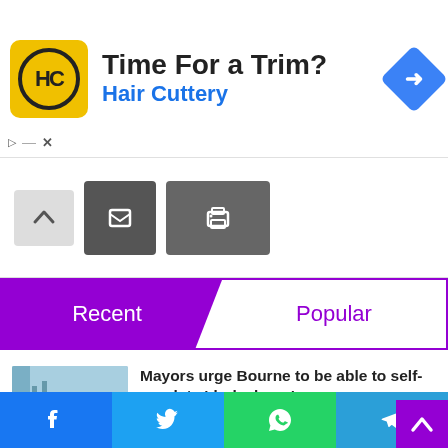[Figure (screenshot): Advertisement banner for Hair Cuttery with yellow HC logo and blue navigation arrow icon. Text: 'Time For a Trim? Hair Cuttery']
[Figure (screenshot): Toolbar with up-arrow button, dark share button, and print button]
[Figure (screenshot): Tab bar with 'Recent' (purple active) and 'Popular' tabs]
Mayors urge Bourne to be able to self-regulate 'dark shops'
11 mins ago
Google Play: Beware of These Malicious
[Figure (screenshot): Social share bar with Facebook, Twitter, WhatsApp, and Telegram buttons]